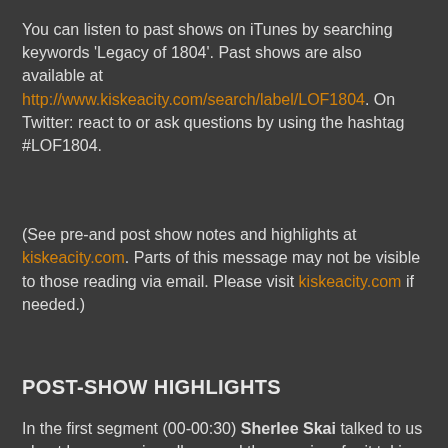You can listen to past shows on iTunes by searching keywords 'Legacy of 1804'. Past shows are also available at http://www.kiskeacity.com/search/label/LOF1804. On Twitter: react to or ask questions by using the hashtag #LOF1804.
(See pre-and post show notes and highlights at kiskeacity.com. Parts of this message may not be visible to those reading via email. Please visit kiskeacity.com if needed.)
POST-SHOW HIGHLIGHTS
In the first segment (00-00:30) Sherlee Skai talked to us about her upcoming album and the premiere for it taking place July 8 in Brooklyn.  We also listened to her music.